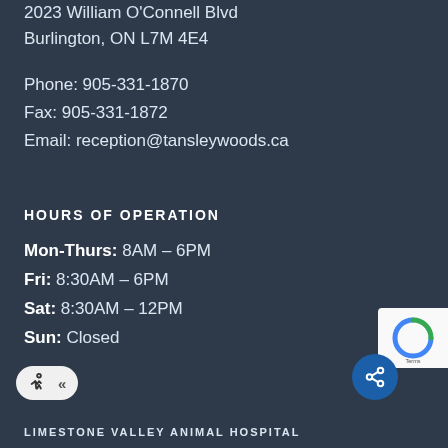2023 William O'Connell Blvd
Burlington, ON L7M 4E4
Phone: 905-331-1870
Fax: 905-331-1872
Email: reception@tansleywoods.ca
HOURS OF OPERATION
Mon-Thurs: 8AM – 6PM
Fri: 8:30AM – 6PM
Sat: 8:30AM – 12PM
Sun: Closed
LIMESTONE VALLEY ANIMAL HOSPITAL